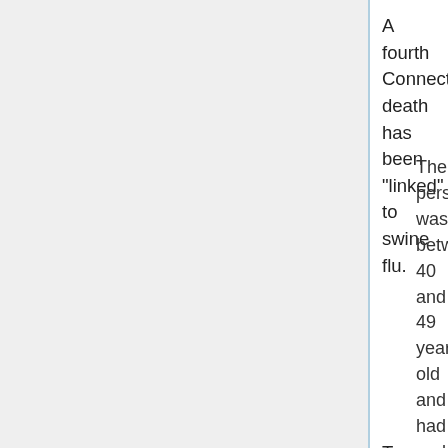A fourth Connecticut death has been "linked" to swine flu.
The person was between 40 and 49 years old and had underlying medical conditions that increased the risk for serious illness from flu, the state Department of Public health said.
To date there have been 767 confirmed cases of swine flu, 28 of the cases had been hospitalized, and 19 of the hospitalized were from the largest cities. All four deaths occurred in people with other medical problems who were hospitalized at the time of death.
Here is the data to date about